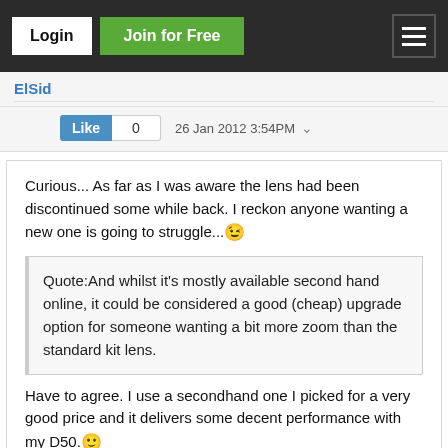Login | Join for Free
ElSid
Like 0   26 Jan 2012 3:54PM
Curious... As far as I was aware the lens had been discontinued some while back. I reckon anyone wanting a new one is going to struggle... 😉
Quote:And whilst it's mostly available second hand online, it could be considered a good (cheap) upgrade option for someone wanting a bit more zoom than the standard kit lens.
Have to agree. I use a secondhand one I picked for a very good price and it delivers some decent performance with my D50. 🙂